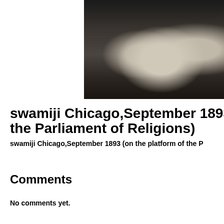[Figure (photo): Black and white photograph of people seated, partially cropped, showing figures in early 20th century clothing against a dark background. Only the right portion of the page is occupied by the photo.]
swamiji Chicago,September 1893 (on the platform of the Parliament of Religions)
swamiji Chicago,September 1893 (on the platform of the P...
Comments
No comments yet.